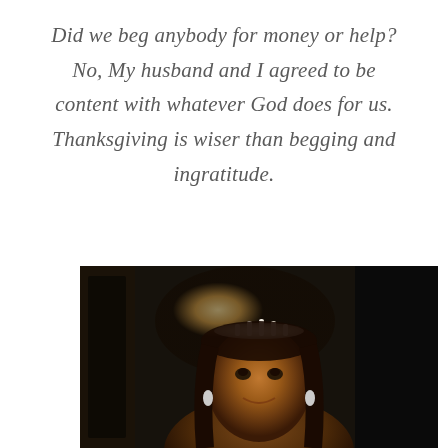Did we beg anybody for money or help? No,  My husband and I agreed to be content with whatever God does for us. Thanksgiving is wiser than begging and ingratitude.
[Figure (photo): A young Black woman wearing a tiara/crown and earrings, looking upward with a smile, photographed indoors with a blurred background.]